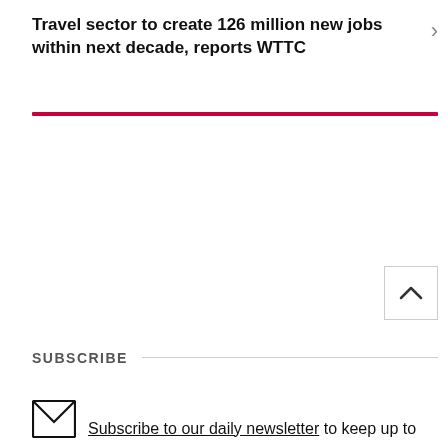Travel sector to create 126 million new jobs within next decade, reports WTTC
SUBSCRIBE
Subscribe to our daily newsletter to keep up to